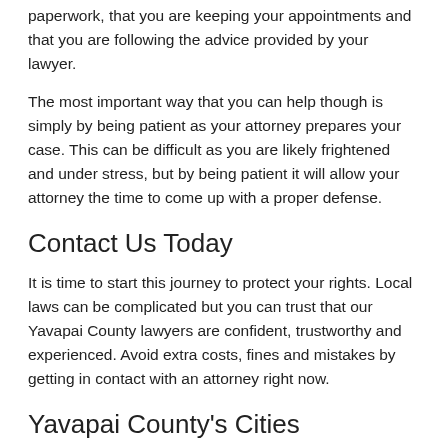paperwork, that you are keeping your appointments and that you are following the advice provided by your lawyer.
The most important way that you can help though is simply by being patient as your attorney prepares your case. This can be difficult as you are likely frightened and under stress, but by being patient it will allow your attorney the time to come up with a proper defense.
Contact Us Today
It is time to start this journey to protect your rights. Local laws can be complicated but you can trust that our Yavapai County lawyers are confident, trustworthy and experienced. Avoid extra costs, fines and mistakes by getting in contact with an attorney right now.
Yavapai County's Cities
Ash Fork
Bagdad
Black Canyon City